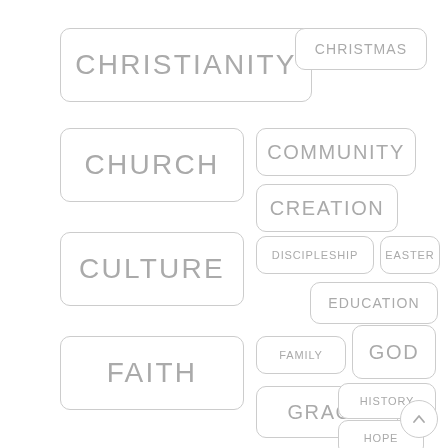CHRISTIANITY
CHRISTMAS
CHURCH
COMMUNITY
CREATION
CULTURE
DISCIPLESHIP
EASTER
EDUCATION
FAITH
FAMILY
GOD
GRACE
HISTORY
HOPE